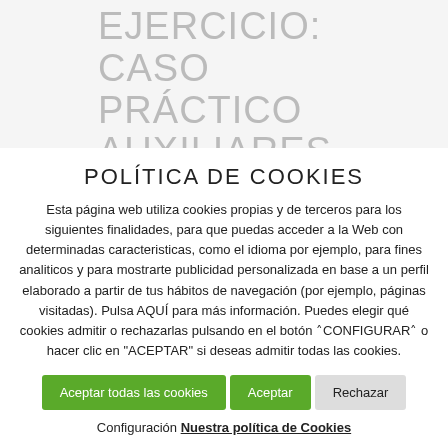EJERCICIO: CASO PRÁCTICO AUXILIARES ADMINISTRATIVOS
POLÍTICA DE COOKIES
Esta página web utiliza cookies propias y de terceros para los siguientes finalidades, para que puedas acceder a la Web con determinadas caracteristicas, como el idioma por ejemplo, para fines analiticos y para mostrarte publicidad personalizada en base a un perfil elaborado a partir de tus hábitos de navegación (por ejemplo, páginas visitadas). Pulsa AQUÍ para más información. Puedes elegir qué cookies admitir o rechazarlas pulsando en el botón ˄CONFIGURAR˄ o hacer clic en "ACEPTAR" si deseas admitir todas las cookies.
Aceptar todas las cookies | Aceptar | Rechazar
Configuración Nuestra política de Cookies